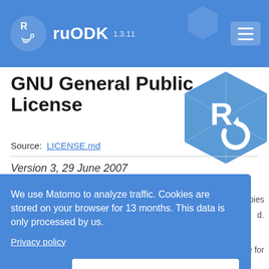ruODK 1.3.11
GNU General Public License
Source: LICENSE.md
Version 3, 29 June 2007
We use Matomo to analyze traffic. Cookies are stored on your browser for 13 months. This data is only processed by us.
Privacy policy
Decline
Accept